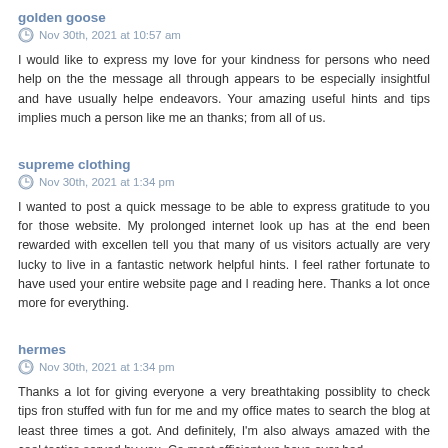golden goose
Nov 30th, 2021 at 10:57 am
I would like to express my love for your kindness for persons who need help on the the message all through appears to be especially insightful and have usually helpe endeavors. Your amazing useful hints and tips implies much a person like me an thanks; from all of us.
supreme clothing
Nov 30th, 2021 at 1:34 pm
I wanted to post a quick message to be able to express gratitude to you for those website. My prolonged internet look up has at the end been rewarded with excellen tell you that many of us visitors actually are very lucky to live in a fantastic network helpful hints. I feel rather fortunate to have used your entire website page and l reading here. Thanks a lot once more for everything.
hermes
Nov 30th, 2021 at 1:34 pm
Thanks a lot for giving everyone a very breathtaking possiblity to check tips fron stuffed with fun for me and my office mates to search the blog at least three times a got. And definitely, I'm also always amazed with the cool tactics served by you. Ce most efficient we have ever had.